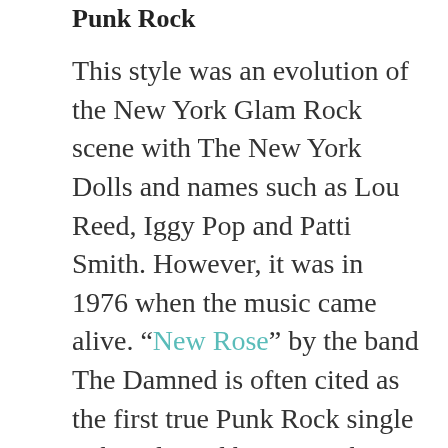Punk Rock
This style was an evolution of the New York Glam Rock scene with The New York Dolls and names such as Lou Reed, Iggy Pop and Patti Smith. However, it was in 1976 when the music came alive. “New Rose” by the band The Damned is often cited as the first true Punk Rock single to be released by a British group. But it was the Ramones that lit the fire for the genre with their amazing self titled debut album released in April of 1976. This music also rebooted the Garage Band movement originally spawned by The